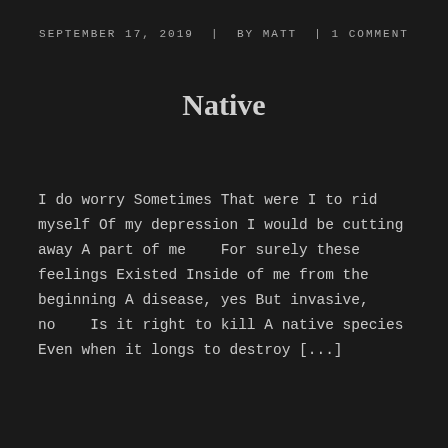SEPTEMBER 17, 2019  |  BY MATT  | 1 COMMENT
Native
I do worry Sometimes That were I to rid myself Of my depression I would be cutting away A part of me   For surely these feelings Existed Inside of me from the beginning A disease, yes But invasive, no   Is it right to kill A native species Even when it longs to destroy [...]